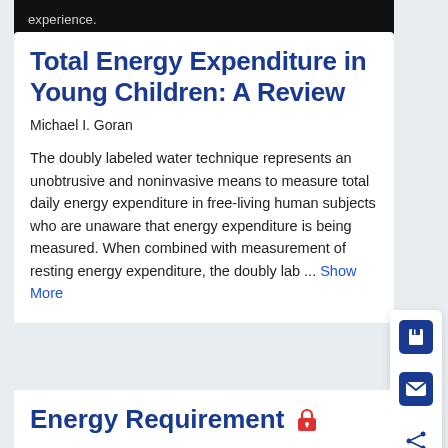experience.
Total Energy Expenditure in Young Children: A Review
Michael I. Goran
The doubly labeled water technique represents an unobtrusive and noninvasive means to measure total daily energy expenditure in free-living human subjects who are unaware that energy expenditure is being measured. When combined with measurement of resting energy expenditure, the doubly lab ... Show More
Energy Requirement